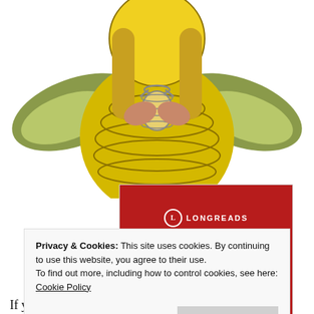[Figure (illustration): Illustrated cartoon character with a large yellow round body, long blonde hair, holding a lantern, with green wing-like shapes on either side, on white background]
[Figure (infographic): Longreads promotional banner in dark red/crimson with logo, tagline 'The best stories on the web – ours, and everyone else's.' and a 'Start reading' button]
Privacy & Cookies: This site uses cookies. By continuing to use this website, you agree to their use.
To find out more, including how to control cookies, see here: Cookie Policy
Close and accept
If you ask Sunny what is his function at the resort he